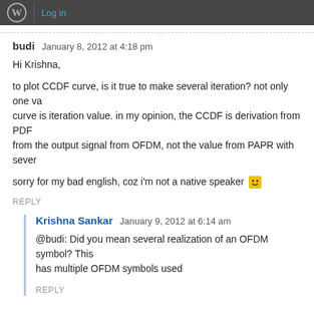WordPress navigation bar with Log in link
budi   January 8, 2012 at 4:18 pm
Hi Krishna,
to plot CCDF curve, is it true to make several iteration? not only one va... curve is iteration value. in my opinion, the CCDF is derivation from PDF... from the output signal from OFDM, not the value from PAPR with sever...
sorry for my bad english, coz i'm not a native speaker 😀
REPLY
Krishna Sankar   January 9, 2012 at 6:14 am
@budi: Did you mean several realization of an OFDM symbol? This... has multiple OFDM symbols used
REPLY